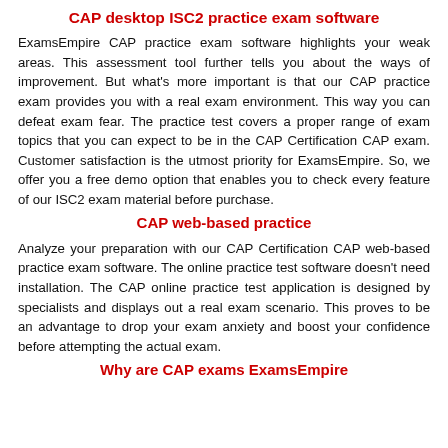CAP desktop ISC2 practice exam software
ExamsEmpire CAP practice exam software highlights your weak areas. This assessment tool further tells you about the ways of improvement. But what's more important is that our CAP practice exam provides you with a real exam environment. This way you can defeat exam fear. The practice test covers a proper range of exam topics that you can expect to be in the CAP Certification CAP exam. Customer satisfaction is the utmost priority for ExamsEmpire. So, we offer you a free demo option that enables you to check every feature of our ISC2 exam material before purchase.
CAP web-based practice
Analyze your preparation with our CAP Certification CAP web-based practice exam software. The online practice test software doesn't need installation. The CAP online practice test application is designed by specialists and displays out a real exam scenario. This proves to be an advantage to drop your exam anxiety and boost your confidence before attempting the actual exam.
Why are CAP exams ExamsEmpire